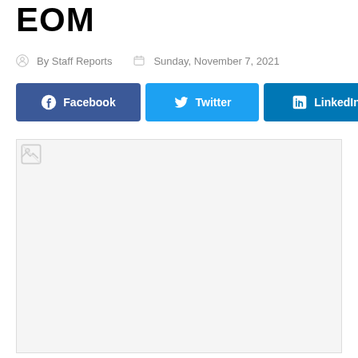EOM
By Staff Reports   Sunday, November 7, 2021
[Figure (other): Social share buttons: Facebook, Twitter, LinkedIn]
[Figure (photo): Placeholder image area with broken image icon in top-left corner]